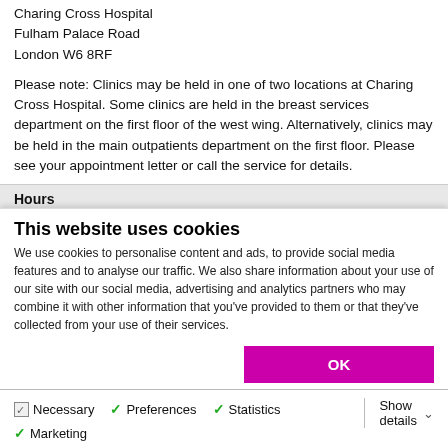Charing Cross Hospital
Fulham Palace Road
London W6 8RF
Please note: Clinics may be held in one of two locations at Charing Cross Hospital. Some clinics are held in the breast services department on the first floor of the west wing. Alternatively, clinics may be held in the main outpatients department on the first floor. Please see your appointment letter or call the service for details.
Hours
This website uses cookies
We use cookies to personalise content and ads, to provide social media features and to analyse our traffic. We also share information about your use of our site with our social media, advertising and analytics partners who may combine it with other information that you've provided to them or that they've collected from your use of their services.
OK
Necessary  Preferences  Statistics  Marketing  Show details